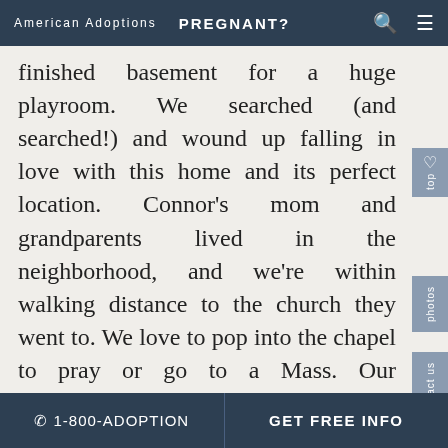American Adoptions   PREGNANT?
finished basement for a huge playroom. We searched (and searched!) and wound up falling in love with this home and its perfect location. Connor's mom and grandparents lived in the neighborhood, and we're within walking distance to the church they went to. We love to pop into the chapel to pray or go to a Mass. Our neighborhood is a beautiful suburb of a bigger city, and we enjoy our local community, which offers plenty of parks, tennis courts, and bike trails to keep us active all year long. With some local restaurants and shops only a stroll away, going on walks has become a favorite activity. A special stop is our nearby pool,
☎ 1-800-ADOPTION   GET FREE INFO